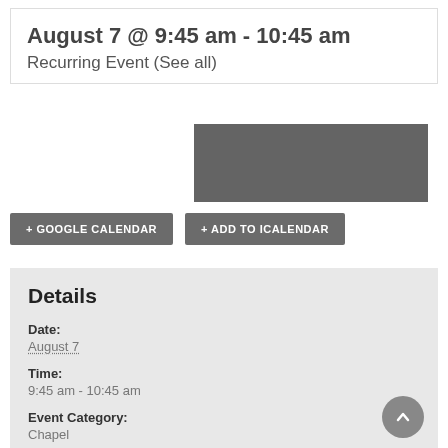August 7 @ 9:45 am - 10:45 am
Recurring Event (See all)
[Figure (other): Gray rectangular image placeholder]
+ GOOGLE CALENDAR
+ ADD TO ICALENDAR
Details
Date:
August 7
Time:
9:45 am - 10:45 am
Event Category:
Chapel
Venue